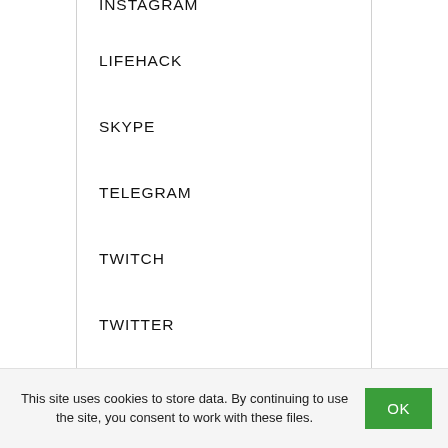INSTAGRAM
LIFEHACK
SKYPE
TELEGRAM
TWITCH
TWITTER
Viber
VKONTAKTE
Whatsapp
This site uses cookies to store data. By continuing to use the site, you consent to work with these files.